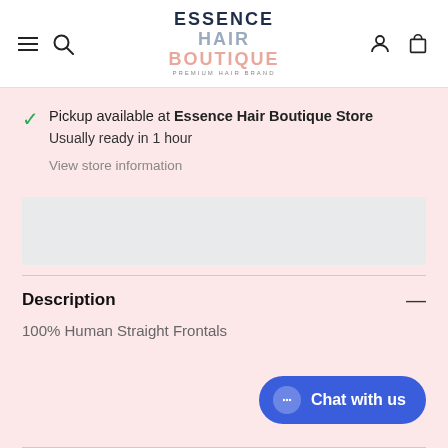ESSENCE HAIR BOUTIQUE PREMIUM HAIR BRAND
Pickup available at Essence Hair Boutique Store
Usually ready in 1 hour
View store information
[Figure (other): Gray placeholder/ad box]
Description
100% Human Straight Frontals
Chat with us